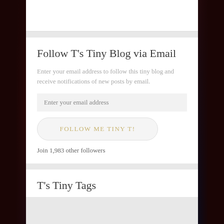Follow T's Tiny Blog via Email
Enter your email address to follow this tiny blog and receive notifications of new posts by email.
Enter your email address
FOLLOW ME TINY T!
Join 1,983 other followers
T's Tiny Tags